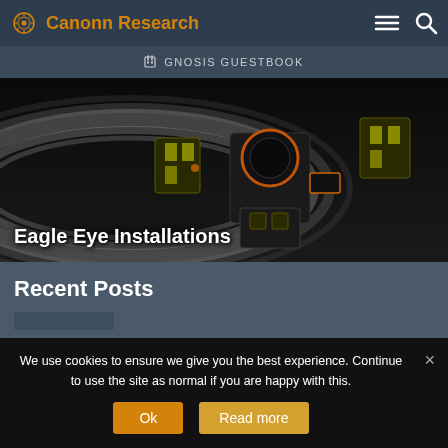Canonn Research
GNOSIS GUESTBOOK
[Figure (photo): Space station or large spacecraft with ring structures in background, viewed from above. Yellow/black angular modules visible. Shows 'Eagle Eye Installations' text overlay.]
Recent Posts
We use cookies to ensure we give you the best experience. Continue to use the site as normal if you are happy with this.